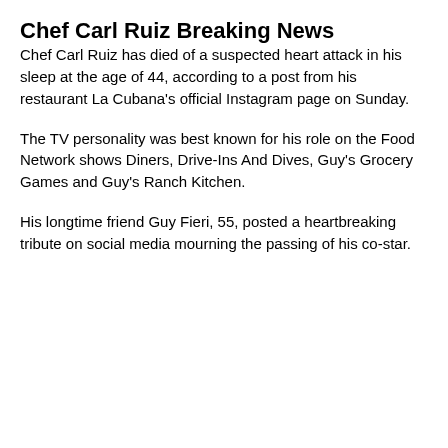Chef Carl Ruiz Breaking News
Chef Carl Ruiz has died of a suspected heart attack in his sleep at the age of 44, according to a post from his restaurant La Cubana's official Instagram page on Sunday.
The TV personality was best known for his role on the Food Network shows Diners, Drive-Ins And Dives, Guy's Grocery Games and Guy's Ranch Kitchen.
His longtime friend Guy Fieri, 55, posted a heartbreaking tribute on social media mourning the passing of his co-star.